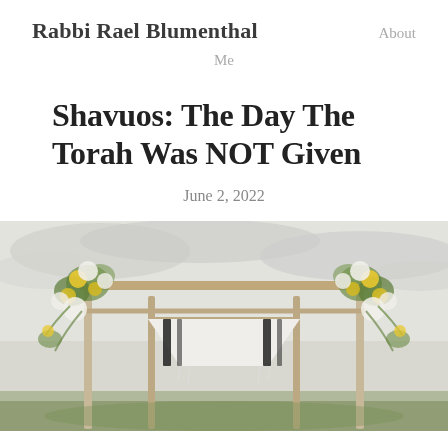Rabbi Rael Blumenthal   About
Me
Shavuos: The Day The Torah Was NOT Given
June 2, 2022
[Figure (photo): A Jewish wedding chuppah made of wooden poles decorated with yellow and white flowers and greenery, draped with a white and black-striped tallit cloth, photographed outdoors against an overcast sky.]